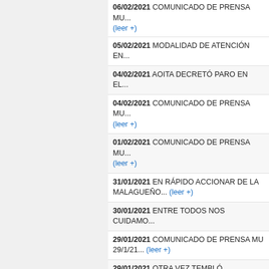06/02/2021 COMUNICADO DE PRENSA MU... (leer +)
05/02/2021 MODALIDAD DE ATENCIÓN EN...
04/02/2021 AOITA DECRETÓ PARO EN EL...
04/02/2021 COMUNICADO DE PRENSA MU... (leer +)
01/02/2021 COMUNICADO DE PRENSA MU... (leer +)
31/01/2021 EN RÁPIDO ACCIONAR DE LA MALAGUEÑO... (leer +)
30/01/2021 ENTRE TODOS NOS CUIAMO...
29/01/2021 COMUNICADO DE PRENSA MU 29/1/21... (leer +)
29/01/2021 OTRA VEZ TEMBLÓ CÓRDOBA...
26/01/2021 COMUNICADO DE PRENSA MU 26/1/21... (leer +)
24/01/2021 COMUNICADO DE PRENSA MU 24/1/21... (leer +)
23/01/2021 AQCUAVISTA MALAGUEÑO MA...
22/01/2021 OPERATIVO DE CONTROL DE C45... (leer +)
22/01/2021 COMUNICADO DE PRENSA MU 22/1/21... (leer +)
20/01/2021 COMUNICADO DE PRENSA MU 20/1/21... (leer +)